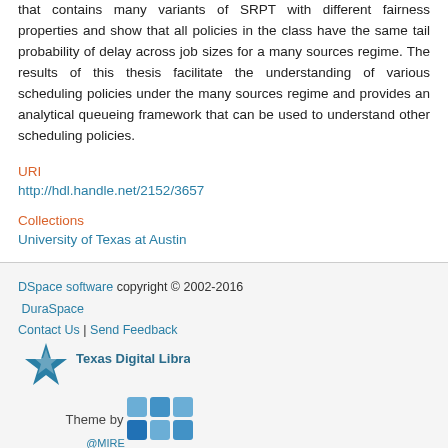that contains many variants of SRPT with different fairness properties and show that all policies in the class have the same tail probability of delay across job sizes for a many sources regime. The results of this thesis facilitate the understanding of various scheduling policies under the many sources regime and provides an analytical queueing framework that can be used to understand other scheduling policies.
URI
http://hdl.handle.net/2152/3657
Collections
University of Texas at Austin
DSpace software copyright © 2002-2016  DuraSpace | Contact Us | Send Feedback | Theme by @MIRE | Texas Digital Library